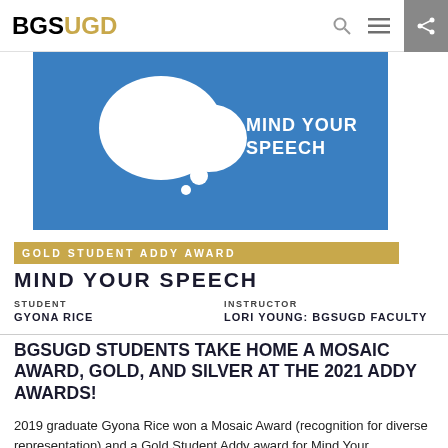BGSUGD
[Figure (illustration): Blue background graphic with white speech bubble shape and text MIND YOUR SPEECH]
GOLD STUDENT ADDY AWARD
MIND YOUR SPEECH
STUDENT
GYONA RICE
INSTRUCTOR
LORI YOUNG: BGSUGD FACULTY
BGSUGD STUDENTS TAKE HOME A MOSAIC AWARD, GOLD, AND SILVER AT THE 2021 ADDY AWARDS!
2019 graduate Gyona Rice won a Mosaic Award (recognition for diverse representation) and a Gold Student Addy award for Mind Your